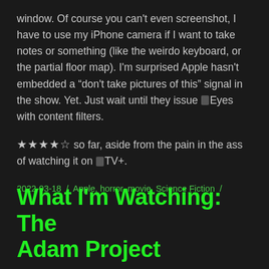window. Of course you can't even screenshot, I have to use my iPhone camera if I want to take notes or something (like the weirdo keyboard, or the partial floor map). I'm surprised Apple hasn't embedded a "don't take pictures of this" signal in the show. Yet. Just wait until they issue [Apple] Eyes with content filters.
★★★★☆ so far, aside from the pain in the ass of watching it on [Apple] TV+.
2022-03-18 / Apple, horror, movie, Science Fiction /
What I'm Watching: The Adam Project